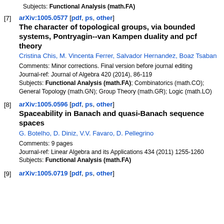Subjects: Functional Analysis (math.FA)
[7] arXiv:1005.0577 [pdf, ps, other]
The character of topological groups, via bounded systems, Pontryagin--van Kampen duality and pcf theory
Cristina Chis, M. Vincenta Ferrer, Salvador Hernandez, Boaz Tsaban
Comments: Minor corrections. Final version before journal editing
Journal-ref: Journal of Algebra 420 (2014), 86-119
Subjects: Functional Analysis (math.FA); Combinatorics (math.CO); General Topology (math.GN); Group Theory (math.GR); Logic (math.LO)
[8] arXiv:1005.0596 [pdf, ps, other]
Spaceability in Banach and quasi-Banach sequence spaces
G. Botelho, D. Diniz, V.V. Favaro, D. Pellegrino
Comments: 9 pages
Journal-ref: Linear Algebra and its Applications 434 (2011) 1255-1260
Subjects: Functional Analysis (math.FA)
[9] arXiv:1005.0719 [pdf, ps, other]